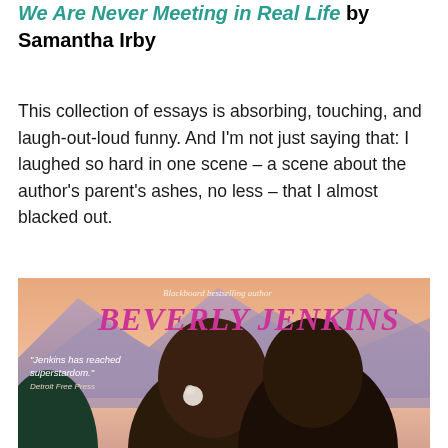We Are Never Meeting in Real Life by Samantha Irby
This collection of essays is absorbing, touching, and laugh-out-loud funny. And I'm not just saying that: I laughed so hard in one scene – a scene about the author's parent's ashes, no less – that I almost blacked out.
[Figure (photo): Book cover of a Beverly Jenkins romance novel. Text reads 'Blackboard bestselling author BEVERLY JENKINS' in large pink/magenta letters, with a quote: 'Jenkins has reached superstardom.' - Detroit Free Press. The cover shows a man and woman in a romantic close embrace against a mountain backdrop with a peach/pink sky.]